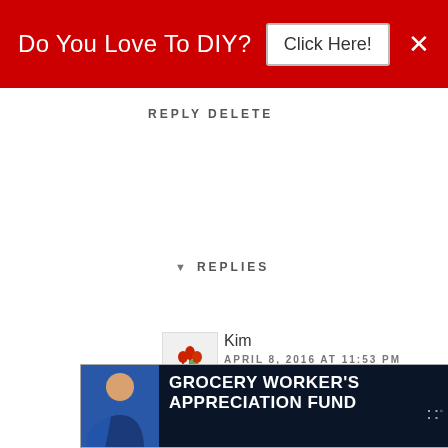[Figure (screenshot): Red banner advertisement: 'Do You Love To DIY? Click Here!' with X close button]
REPLY DELETE
REPLIES
[Figure (logo): Small floral/tulip avatar image for commenter Kim]
Kim
APRIL 8, 2016 AT 11:53 PM
Haha! That is actually really funny...and an idea that wouldn't be so out the realm of possibilities in this deco obsessed community of bloggers! Thanks for the smile, Melanie! :)
[Figure (screenshot): Bottom advertisement: Grocery Worker's Appreciation Fund with Kendall Jackson and United Way logos, with person image on left]
[Figure (screenshot): What's Next widget showing 'Totally Transformed...' with a small brown shed/furniture thumbnail]